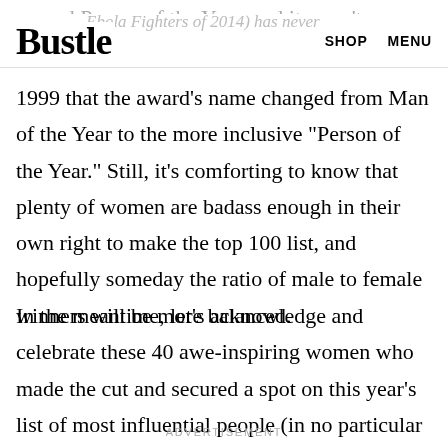Bustle  SHOP  MENU
1999 that the award's name changed from Man of the Year to the more inclusive "Person of the Year." Still, it's comforting to know that plenty of women are badass enough in their own right to make the top 100 list, and hopefully someday the ratio of male to female winners will be more balanced.
In the meantime, let's acknowledge and celebrate these 40 awe-inspiring women who made the cut and secured a spot on this year's list of most influential people (in no particular order).
ADVERTISEMENT